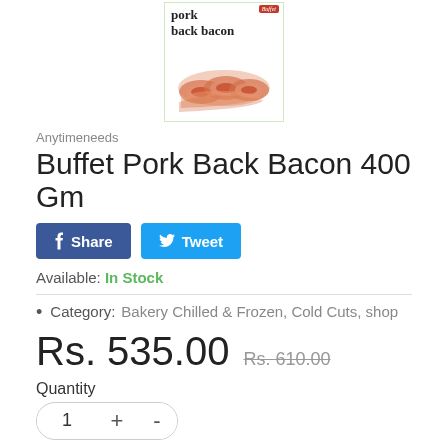[Figure (photo): Product image of Buffet Pork Back Bacon 400Gm package showing rolled bacon slices on a white/green background with red brand label]
Anytimeneeds
Buffet Pork Back Bacon 400 Gm
Available: In Stock
Category: Bakery Chilled & Frozen, Cold Cuts, shop
Rs. 535.00  Rs. 610.00
Quantity
1